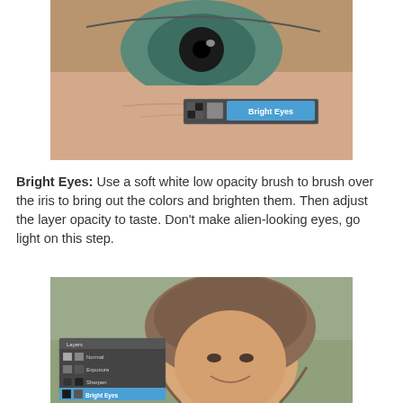[Figure (screenshot): Close-up photo of a human eye with blue-green iris, showing a Photoshop layer panel overlay labeled 'Bright Eyes' highlighted in blue]
Bright Eyes: Use a soft white low opacity brush to brush over the iris to bring out the colors and brighten them. Then adjust the layer opacity to taste. Don't make alien-looking eyes, go light on this step.
[Figure (screenshot): Photo of a smiling child wearing a brown crocheted bonnet hat, with a Photoshop layers panel overlay visible in the lower left showing layer named 'Bright Eyes' highlighted in blue]